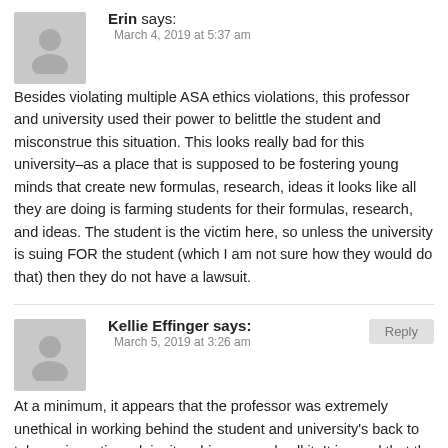Erin says:
March 4, 2019 at 5:37 am
Besides violating multiple ASA ethics violations, this professor and university used their power to belittle the student and misconstrue this situation. This looks really bad for this university–as a place that is supposed to be fostering young minds that create new formulas, research, ideas it looks like all they are doing is farming students for their formulas, research, and ideas. The student is the victim here, so unless the university is suing FOR the student (which I am not sure how they would do that) then they do not have a lawsuit.
Kellie Effinger says:
March 5, 2019 at 3:26 am
At a minimum, it appears that the professor was extremely unethical in working behind the student and university's back to take an invention, claim it as his own and sell it. It is good that the university is taking action, but they still come out of this looking bad as a research institution. In addition, the student is still pushed aside in all of this; despite